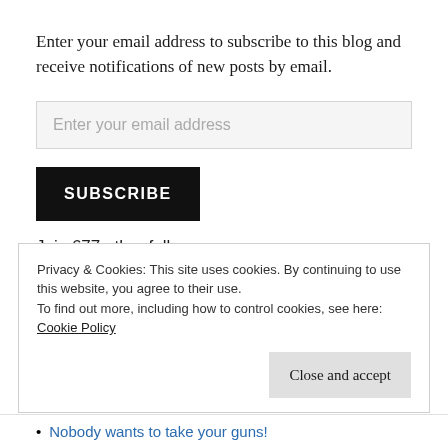Enter your email address to subscribe to this blog and receive notifications of new posts by email.
Enter your email address
SUBSCRIBE
Join 677 other followers
Privacy & Cookies: This site uses cookies. By continuing to use this website, you agree to their use.
To find out more, including how to control cookies, see here:
Cookie Policy
Close and accept
Nobody wants to take your guns!